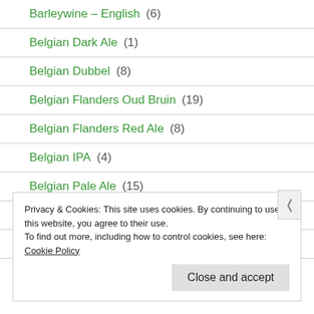Barleywine – English (6)
Belgian Dark Ale (1)
Belgian Dubbel (8)
Belgian Flanders Oud Bruin (19)
Belgian Flanders Red Ale (8)
Belgian IPA (4)
Belgian Pale Ale (15)
Belgian Quadrupel (19)
Belgian Strong Dark Ale (17)
Privacy & Cookies: This site uses cookies. By continuing to use this website, you agree to their use.
To find out more, including how to control cookies, see here: Cookie Policy